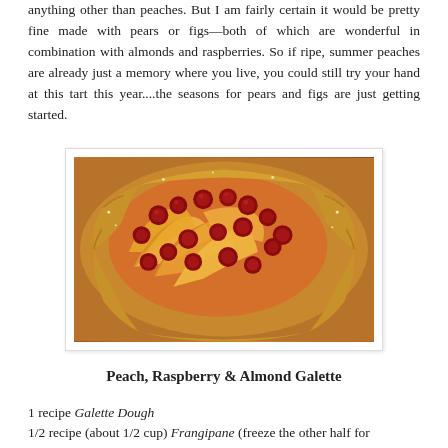anything other than peaches. But I am fairly certain it would be pretty fine made with pears or figs—both of which are wonderful in combination with almonds and raspberries. So if ripe, summer peaches are already just a memory where you live, you could still try your hand at this tart this year....the seasons for pears and figs are just getting started.
[Figure (photo): Close-up photo of a Peach, Raspberry & Almond Galette showing sliced peaches and raspberries on a rustic pastry crust with golden-brown folded edges.]
Peach, Raspberry & Almond Galette
1 recipe Galette Dough
1/2 recipe (about 1/2 cup) Frangipane (freeze the other half for